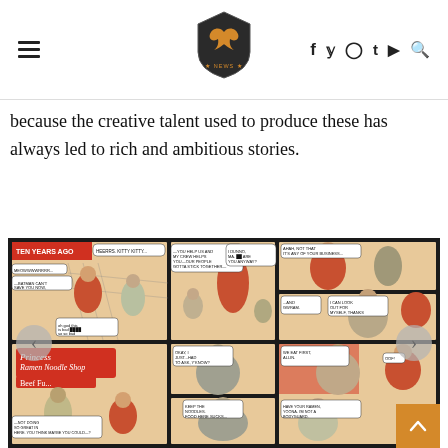Dark Knight News — navigation header with logo, hamburger menu, and social icons (f, twitter, instagram, t, youtube, search)
because the creative talent used to produce these has always led to rich and ambitious stories.
[Figure (illustration): Comic book panel page showing prison scenes. Top left panel labeled 'TEN YEARS AGO' with characters in orange jumpsuits behind chain-link fence. Speech bubbles: 'HEERRS. KITTY KITTY...', 'MEOWWWWRRRR...', 'BATMAN CAN'T SAVE YOU NOW, PUSSYCAT—', 'oh god this is bad [redacted] so so bad'. Center top panel: characters in orange discussing helping each other, speech bubbles: 'YOU HELP US AND MY CREW HELPS YOU—OUR PEOPLE GOTTA STICK TOGETHER—', 'I DUNNO, MA. [redacted] ARE YOU ANYWAY? ITALIAN?'. Top right panels: 'AHAH, NOT THAT IT'S ANY OF YOUR BUSINESS...', '...AND GWRAM.', 'I CAN LOOK OUT FOR MYSELF, THANKS'. Bottom panels show ramen restaurant 'Princess Ramen Noodle Shop Beef F[u...]' and library scenes with speech bubbles: 'NOT DOING SO GREAT IN HERE. YOU THINK MAYBE YOU COULD—?', 'OKAY, I JUST...HAD TO ASK, Y'KNOW?', 'KEEP THE NOODLES. FOOD HERE SUCKS...', 'WE EAT FIRST, ALLIN.', 'OOF!', 'HAVE YOUR RAMEN, YOONA. I'M NOT A BODYGUARD.']